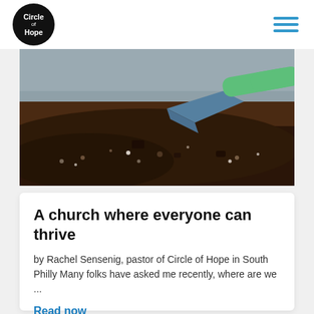Circle of Hope
[Figure (photo): Close-up photo of dark garden soil with a blue trowel and green handle visible]
A church where everyone can thrive
by Rachel Sensenig, pastor of Circle of Hope in South Philly Many folks have asked me recently, where are we ...
Read now